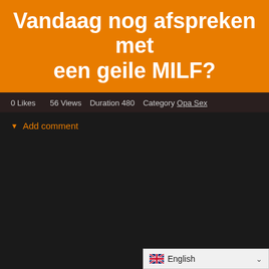Vandaag nog afspreken met een geile MILF?
0 Likes   56 Views   Duration 480   Category Opa Sex
▼ Add comment
English